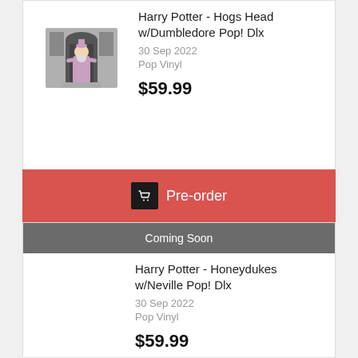[Figure (illustration): Funko Pop Deluxe figure of Dumbledore at Hogs Head, gray castle/pub scene]
Harry Potter - Hogs Head w/Dumbledore Pop! Dlx
30 Sep 2022
Pop Vinyl
$59.99
Pre-order
Coming Soon
Harry Potter - Honeydukes w/Neville Pop! Dlx
30 Sep 2022
Pop Vinyl
$59.99